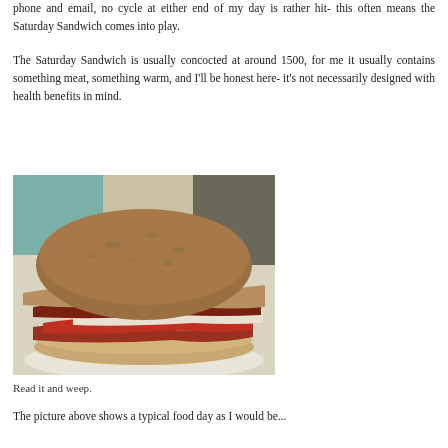phone and email, no cycle at either end of my day is rather hit- this often means the Saturday Sandwich comes into play.
The Saturday Sandwich is usually concocted at around 1500, for me it usually contains something meat, something warm, and I'll be honest here- it's not necessarily designed with health benefits in mind.
[Figure (photo): A large sandwich/burger on a white plate, featuring a wholegrain brown bun, bacon, egg, and what appears to be tomato and other fillings, photographed close up.]
Read it and weep.
The picture above shows a typical food day as I would be...